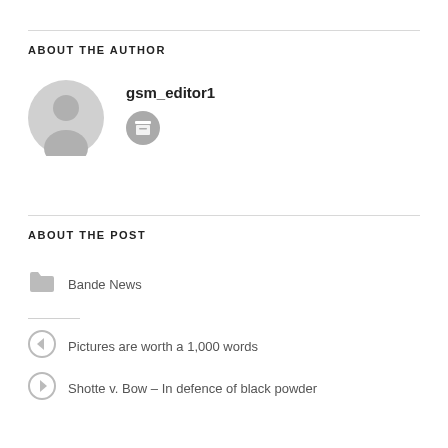ABOUT THE AUTHOR
[Figure (illustration): Gray circular avatar placeholder with a person silhouette icon]
gsm_editor1
[Figure (illustration): Small gray circular archive/box icon button]
ABOUT THE POST
[Figure (illustration): Gray folder icon]
Bande News
Pictures are worth a 1,000 words
Shotte v. Bow – In defence of black powder